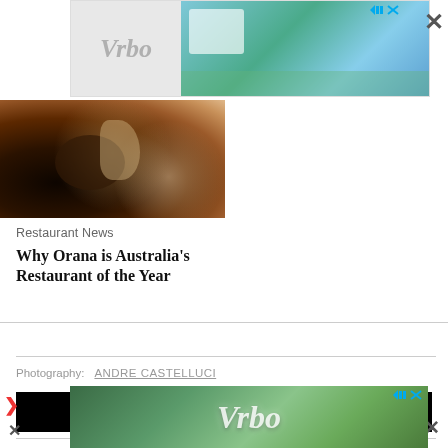[Figure (photo): Vrbo advertisement banner at top with logo and beach house photo]
[Figure (photo): Close-up food photo showing a gourmet dish with stones and garnish on a dark plate]
Restaurant News
Why Orana is Australia's Restaurant of the Year
Photography: ANDRE CASTELLUCI
SHARE
PIN
READ MORE
[Figure (photo): Vrbo advertisement banner at bottom with logo overlaid on green outdoor scene]